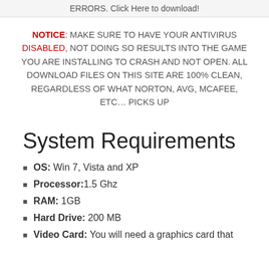ERRORS. Click Here to download!
NOTICE: MAKE SURE TO HAVE YOUR ANTIVIRUS DISABLED, NOT DOING SO RESULTS INTO THE GAME YOU ARE INSTALLING TO CRASH AND NOT OPEN. ALL DOWNLOAD FILES ON THIS SITE ARE 100% CLEAN, REGARDLESS OF WHAT NORTON, AVG, MCAFEE, ETC… PICKS UP
System Requirements
OS: Win 7, Vista and XP
Processor: 1.5 Ghz
RAM: 1GB
Hard Drive: 200 MB
Video Card: You will need a graphics card that